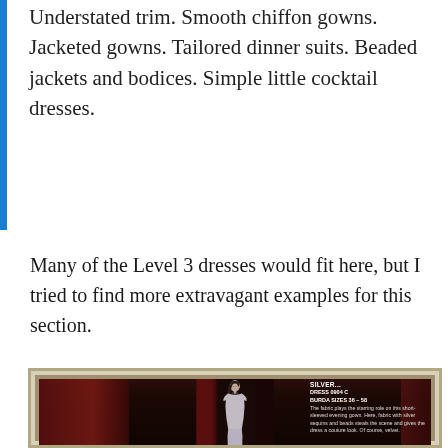Understated trim. Smooth chiffon gowns. Jacketed gowns. Tailored dinner suits. Beaded jackets and bodices. Simple little cocktail dresses.
Many of the Level 3 dresses would fit here, but I tried to find more extravagant examples for this section.
[Figure (photo): A framed photograph of a woman in a silver beaded short-sleeved evening gown, standing against a dark red curtain background. The frame has a silver/gold ornate border. Text overlay reads: LIKE SPUN SILVER... DRESS 0904 C BURDA SIZES 36-58 The fabric plays the starring role on this short-sleeved evening gown. Here, fabric with silver sequins and beads steals the scene and gives the dress a couture look. Of course, velvet.]